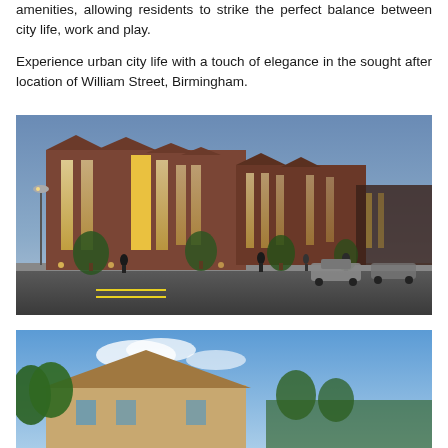amenities, allowing residents to strike the perfect balance between city life, work and play.
Experience urban city life with a touch of elegance in the sought after location of William Street, Birmingham.
[Figure (photo): Architectural rendering of a modern multi-storey residential building with red brick facade and large windows, photographed at dusk/evening with interior lights glowing. Street scene with pedestrians and parked cars visible.]
[Figure (photo): Partial view of another residential building or house with blue sky background and trees visible. A dark navigation button with an upward arrow chevron overlays the top-right corner.]